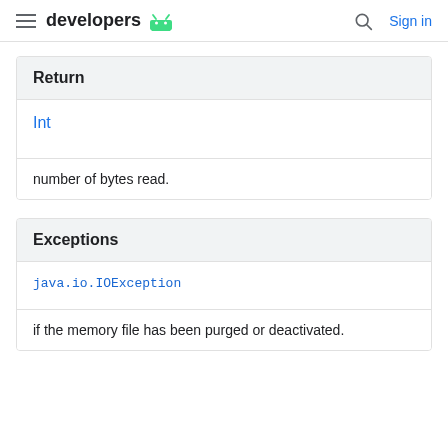developers | Sign in
Return
Int
number of bytes read.
Exceptions
java.io.IOException
if the memory file has been purged or deactivated.